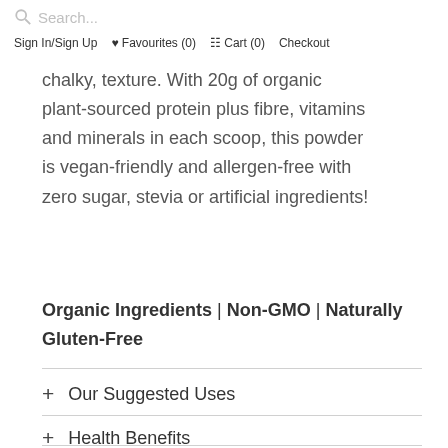Search... Sign In/Sign Up ♥ Favourites (0) Cart (0) Checkout
chalky, texture. With 20g of organic plant-sourced protein plus fibre, vitamins and minerals in each scoop, this powder is vegan-friendly and allergen-free with zero sugar, stevia or artificial ingredients!
Organic Ingredients | Non-GMO | Naturally Gluten-Free
+ Our Suggested Uses
+ Health Benefits